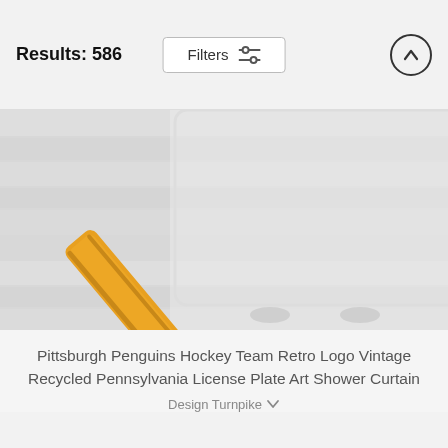Results: 586
Filters
[Figure (photo): Pittsburgh Penguins Hockey Team Retro Logo Vintage Recycled Pennsylvania License Plate Art Shower Curtain product photo — shows a shower curtain on a stand with the Penguins logo made from Pennsylvania license plates on a white wood plank background, with a gold/orange hockey stick diagonal and black triangle penguin logo elements]
Pittsburgh Penguins Hockey Team Retro Logo Vintage Recycled Pennsylvania License Plate Art Shower Curtain
Design Turnpike